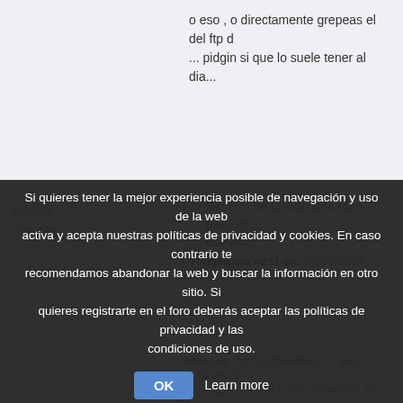o eso , o directamente grepeas el del ftp d... ... pidgin si que lo suele tener al dia...
vk496
Visitante
Re: Re: he tenidp una idea , para lo extras
« Respuesta #231 en: 03-08-2014, 23:33 (Domi
Pidgin no me pide gstreamer...
Es el farstream quien me da lio..
En la compilación dice que hace falta par... compilando a mano todo lo que me pide y
EDITO: He compilado gstreamer (acabo d... cabron! 😊, gstreamer-plugins-base y
Si quieres tener la mejor experiencia posible de navegación y uso de la web activa y acepta nuestras políticas de privacidad y cookies. En caso contrario te recomendamos abandonar la web y buscar la información en otro sitio. Si quieres registrarte en el foro deberás aceptar las políticas de privacidad y las condiciones de uso.
checking for GSTREAMER... yes
checking for gst_registry_fork_set_enabled in -lg